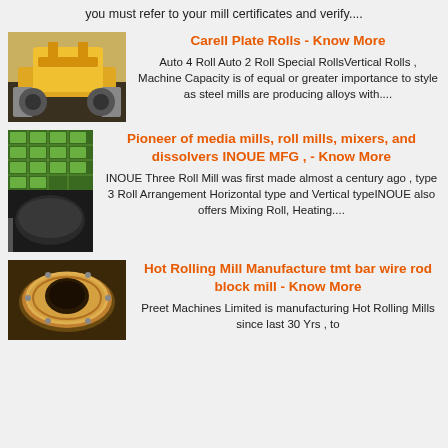you must refer to your mill certificates and verify....
[Figure (photo): Yellow industrial plate roll machine in a factory]
Carell Plate Rolls - Know More
Auto 4 Roll Auto 2 Roll Special RollsVertical Rolls , Machine Capacity is of equal or greater importance to style as steel mills are producing alloys with....
[Figure (photo): Green and black industrial roll mill machinery]
Pioneer of media mills, roll mills, mixers, and dissolvers INOUE MFG , - Know More
INOUE Three Roll Mill was first made almost a century ago , type 3 Roll Arrangement Horizontal type and Vertical typeINOUE also offers Mixing Roll, Heating....
[Figure (photo): Brass/bronze circular rolling mill component on dark background]
Hot Rolling Mill Manufacture tmt bar wire rod block mill - Know More
Preet Machines Limited is manufacturing Hot Rolling Mills since last 30 Yrs , to